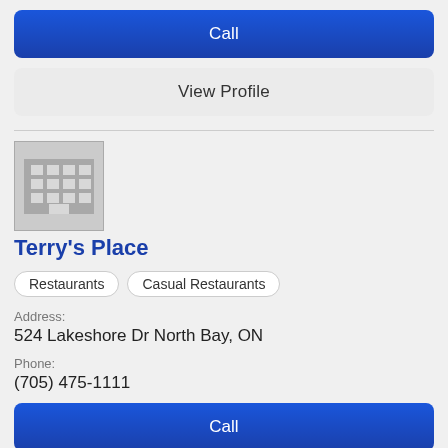Call
View Profile
[Figure (illustration): Grey building/office icon placeholder image]
Terry's Place
Restaurants
Casual Restaurants
Address:
524 Lakeshore Dr North Bay, ON
Phone:
(705) 475-1111
Call
View Profile